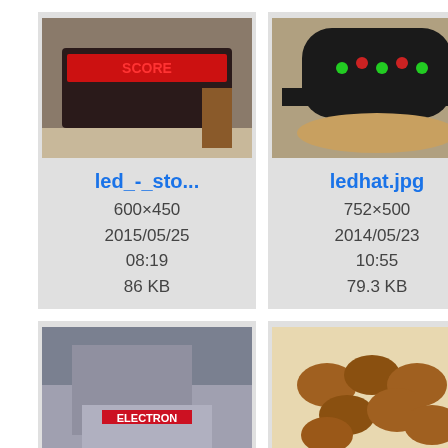[Figure (screenshot): File browser/gallery screenshot showing image thumbnails with filenames, dimensions, dates, and file sizes]
led_-_sto...
600×450
2015/05/25 08:19
86 KB
ledhat.jpg
752×500
2014/05/23 10:55
79.3 KB
openday...
500×375
2014/05/23 10:55
146.3 KB
pcookies...
760×504
2014/05/23 10:55
297.6 KB